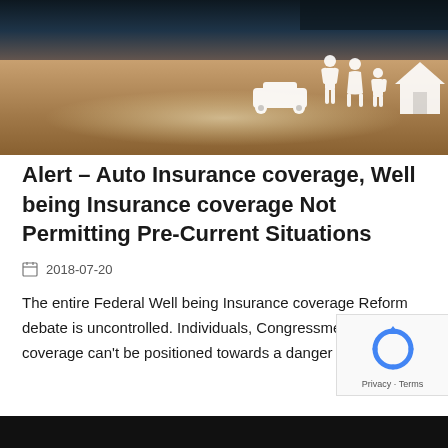[Figure (photo): Photo showing paper cutout figures of a family, car, and house on a wooden table surface with a dark background, and a hand visible at top.]
Alert – Auto Insurance coverage, Well being Insurance coverage Not Permitting Pre-Current Situations
2018-07-20
The entire Federal Well being Insurance coverage Reform debate is uncontrolled. Individuals, Congressmen, insurance coverage can't be positioned towards a danger that has [...]
[Figure (photo): Partial photo visible at bottom of page, dark image.]